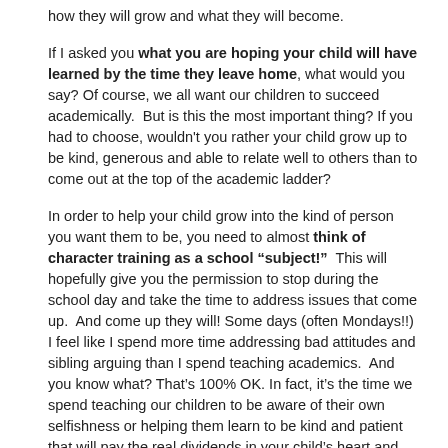how they will grow and what they will become.
If I asked you what you are hoping your child will have learned by the time they leave home, what would you say? Of course, we all want our children to succeed academically.  But is this the most important thing? If you had to choose, wouldn't you rather your child grow up to be kind, generous and able to relate well to others than to come out at the top of the academic ladder?
In order to help your child grow into the kind of person you want them to be, you need to almost think of character training as a school "subject!"  This will hopefully give you the permission to stop during the school day and take the time to address issues that come up.  And come up they will! Some days (often Mondays!!) I feel like I spend more time addressing bad attitudes and sibling arguing than I spend teaching academics.  And you know what? That's 100% OK. In fact, it's the time we spend teaching our children to be aware of their own selfishness or helping them learn to be kind and patient that will pay the real dividends in your child's heart and life. And yes, this takes lots of time and patience! Instead of just telling them to "stop it," we need to take time to address what's really